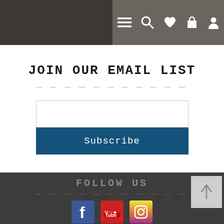Navigation bar with menu, search, heart, bag, and user icons
JOIN OUR EMAIL LIST
[Figure (screenshot): Email input field (empty text box)]
Subscribe
FOLLOW US
[Figure (infographic): Social media icons: Facebook, YouTube, Instagram]